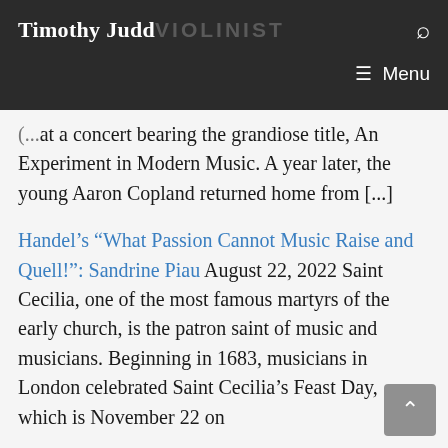Timothy Judd VIOLINIST
at a concert bearing the grandiose title, An Experiment in Modern Music. A year later, the young Aaron Copland returned home from [...]
Handel's “What Passion Cannot Music Raise and Quell!”: Sandrine Piau August 22, 2022 Saint Cecilia, one of the most famous martyrs of the early church, is the patron saint of music and musicians. Beginning in 1683, musicians in London celebrated Saint Cecilia’s Feast Day, which is November 22 on